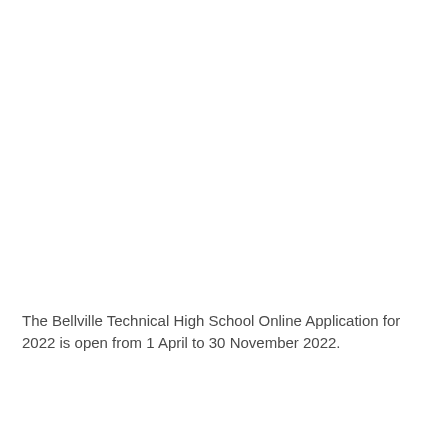The Bellville Technical High School Online Application for 2022 is open from 1 April to 30 November 2022.